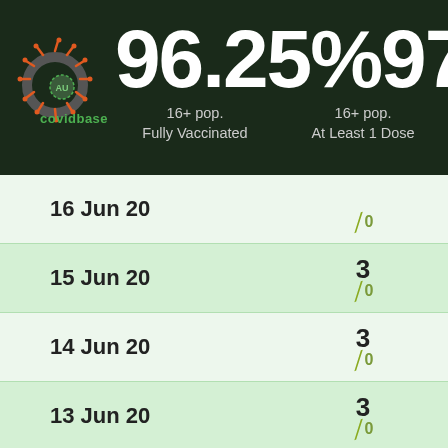[Figure (infographic): Covidbase AU logo with coronavirus graphic on dark background with vaccination statistics: 96.25% 16+ pop. Fully Vaccinated and 97.93% 16+ pop. At Least 1 Dose]
| Date | Value |
| --- | --- |
| 16 Jun 20 | 3 / 0 |
| 15 Jun 20 | 3 / 0 |
| 14 Jun 20 | 3 / 0 |
| 13 Jun 20 | 3 / 0 |